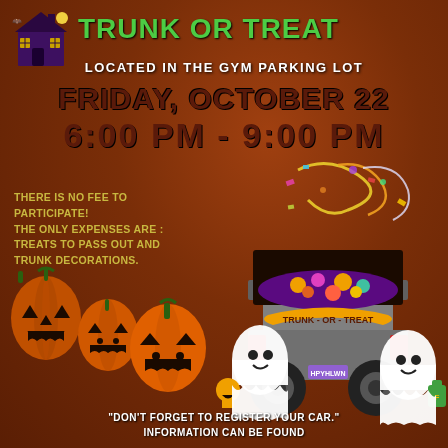[Figure (illustration): Haunted house purple icon top left corner]
TRUNK OR TREAT
LOCATED IN THE GYM PARKING LOT
FRIDAY, OCTOBER 22
6:00 PM - 9:00 PM
THERE IS NO FEE TO PARTICIPATE! THE ONLY EXPENSES ARE : TREATS TO PASS OUT AND TRUNK DECORATIONS.
[Figure (illustration): Cartoon truck with trunk-or-treat banner, candy, and ghost trick-or-treaters]
[Figure (illustration): Row of carved Halloween jack-o-lantern pumpkins]
"DON'T FORGET TO REGISTER YOUR CAR." INFORMATION CAN BE FOUND